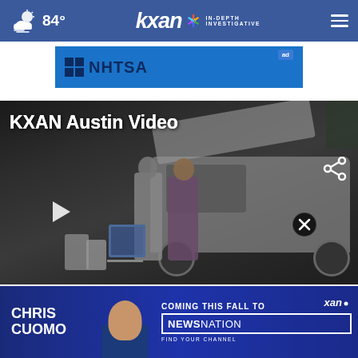84° KXAN IN-DEPTH INVESTIGATIVE
[Figure (screenshot): NHTSA advertisement banner with blue background]
KXAN Austin Video
[Figure (photo): Video thumbnail showing people loading items into the back of a white SUV; one person wearing a mask and plaid shirt. Share icon in top right, play button bottom left, close (X) button bottom right.]
[Figure (infographic): Chris Cuomo advertisement banner: 'CHRIS CUOMO COMING THIS FALL TO NEWSNATION FIND YOUR CHANNEL' with photo of Chris Cuomo and KXAN logo]